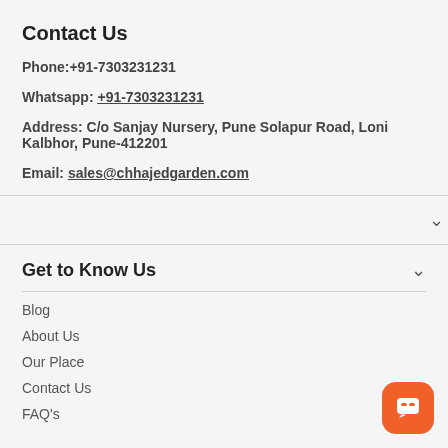Contact Us
Phone:+91-7303231231
Whatsapp: +91-7303231231
Address: C/o Sanjay Nursery, Pune Solapur Road, Loni Kalbhor, Pune-412201
Email: sales@chhajedgarden.com
Get to Know Us
Blog
About Us
Our Place
Contact Us
FAQ's